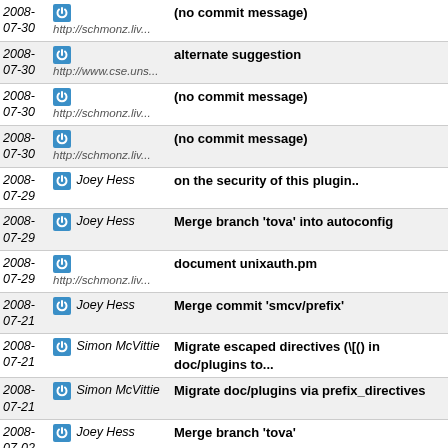| Date | Author | Message |
| --- | --- | --- |
| 2008-07-30 | http://schmonz.liv... | (no commit message) |
| 2008-07-30 | http://www.cse.uns... | alternate suggestion |
| 2008-07-30 | http://schmonz.liv... | (no commit message) |
| 2008-07-30 | http://schmonz.liv... | (no commit message) |
| 2008-07-29 | Joey Hess | on the security of this plugin.. |
| 2008-07-29 | Joey Hess | Merge branch 'tova' into autoconfig |
| 2008-07-29 | http://schmonz.liv... | document unixauth.pm |
| 2008-07-21 | Joey Hess | Merge commit 'smcv/prefix' |
| 2008-07-21 | Simon McVittie | Migrate escaped directives (\[() in doc/plugins to... |
| 2008-07-21 | Simon McVittie | Migrate doc/plugins via prefix_directives |
| 2008-07-02 | Joey Hess | Merge branch 'tova' |
| 2008-07-01 | Joey Hess | Merge branch 'master' of ssh://git.ikiwiki.info/srv... |
| 2008-07-01 | Joey Hess | attachment doc updates |